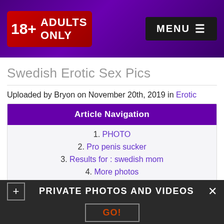18+ ADULTS ONLY | MENU
Swedish Erotic Sex Pics
Uploaded by Bryon on November 20th, 2019 in Erotic
Article Navigation
1. PHOTO
2. Pro penis sucker
3. Results for : swedish mom
4. More photos
5. Comments (7)
PRIVATE PHOTOS AND VIDEOS
GO!